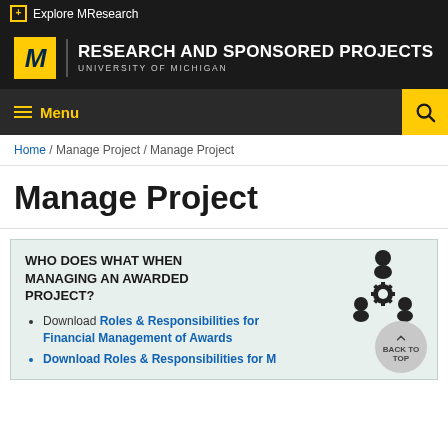Explore MResearch
[Figure (logo): University of Michigan Research and Sponsored Projects logo with block M]
Menu / Search
Home / Manage Project / Manage Project
Manage Project
WHO DOES WHAT WHEN MANAGING AN AWARDED PROJECT?
Download Roles & Responsibilities for Financial Management of Awards
Download Roles & Responsibilities for Managing...